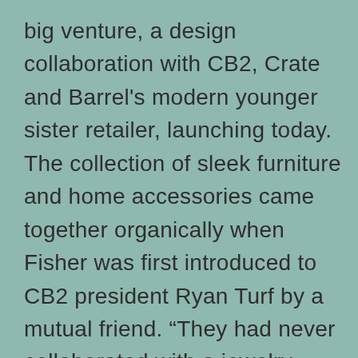big venture, a design collaboration with CB2, Crate and Barrel's modern younger sister retailer, launching today. The collection of sleek furniture and home accessories came together organically when Fisher was first introduced to CB2 president Ryan Turf by a mutual friend. “They had never collaborated with a jewelry brand before and I’ve always been a CB2 customer. It just made sense” Fisher tells CR. “I wanted to create a collection that felt like my jewelry. Pieces that are universal, timeless things that work in anyone’s home. Things where you could buy one piece,